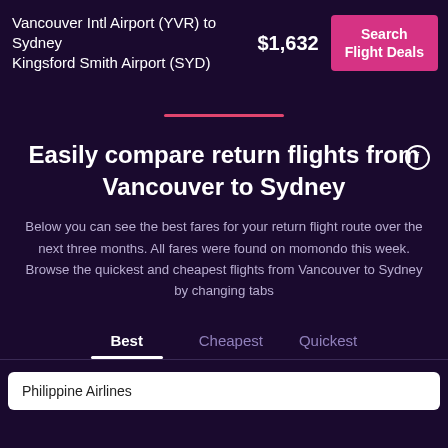Vancouver Intl Airport (YVR) to Sydney Kingsford Smith Airport (SYD)  $1,632  Search Flight Deals
Easily compare return flights from Vancouver to Sydney
Below you can see the best fares for your return flight route over the next three months. All fares were found on momondo this week. Browse the quickest and cheapest flights from Vancouver to Sydney by changing tabs
Best   Cheapest   Quickest
Philippine Airlines